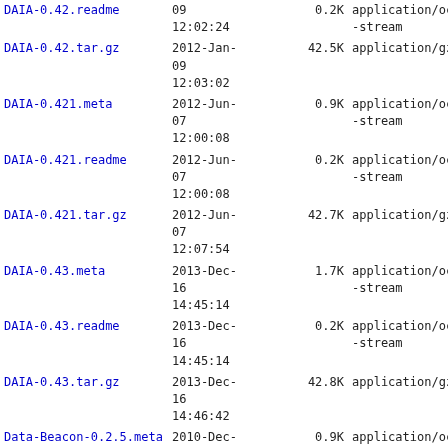| Name | Date | Size | Type |
| --- | --- | --- | --- |
| DAIA-0.42.readme | 09
12:02:24 | 0.2K | application/octet-stream |
| DAIA-0.42.tar.gz | 2012-Jan-09
12:03:02 | 42.5K | application/gzip |
| DAIA-0.421.meta | 2012-Jun-07
12:00:08 | 0.9K | application/octet-stream |
| DAIA-0.421.readme | 2012-Jun-07
12:00:08 | 0.2K | application/octet-stream |
| DAIA-0.421.tar.gz | 2012-Jun-07
12:07:54 | 42.7K | application/gzip |
| DAIA-0.43.meta | 2013-Dec-16
14:45:14 | 1.7K | application/octet-stream |
| DAIA-0.43.readme | 2013-Dec-16
14:45:14 | 0.2K | application/octet-stream |
| DAIA-0.43.tar.gz | 2013-Dec-16
14:46:42 | 42.8K | application/gzip |
| Data-Beacon-0.2.5.meta | 2010-Dec-03
14:40:36 | 0.9K | application/octet-stream |
| Data-Beacon-0.2.5.readme | 2010-Nov-05
09:53:25 | 1.0K | application/octet-stream |
| Data-Beacon-0.2.5.tar.gz | 2010-Dec-03
14:40:08 | 21.5K | application/gzip |